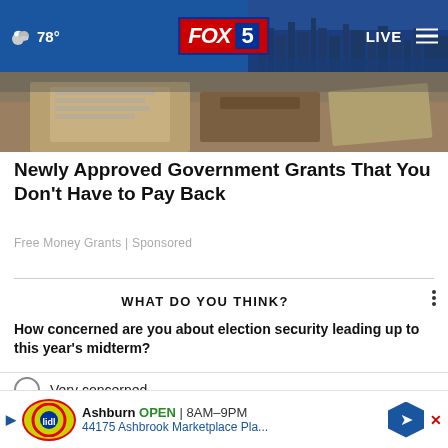78° FOX 5 LIVE
[Figure (screenshot): Article thumbnail image showing papers/documents on a desk]
Newly Approved Government Grants That You Don't Have to Pay Back
Free Money Grants | Sponsored
WHAT DO YOU THINK?
How concerned are you about election security leading up to this year's midterm?
Very concerned
Somewhat concerned
[Figure (infographic): Ad banner: Ashburn OPEN 8AM–9PM 44175 Ashbrook Marketplace Pla...]